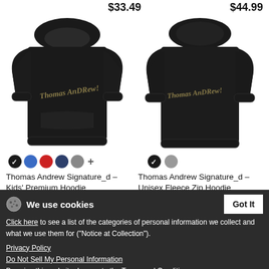$33.49
[Figure (photo): Black kids' premium hoodie with Thomas Andrew Signature script logo on front, shown from front angle]
[Figure (photo): Black unisex fleece zip hoodie with Thomas Andrew Signature script logo on back, shown from rear angle]
Thomas Andrew Signature_d - Kids' Premium Hoodie
$49.99
Thomas Andrew Signature_d - Unisex Fleece Zip Hoodie
$47.99
We use cookies
Click here to see a list of the categories of personal information we collect and what we use them for ("Notice at Collection").
Privacy Policy
Do Not Sell My Personal Information
By using this website, I agree to the Terms and Conditions